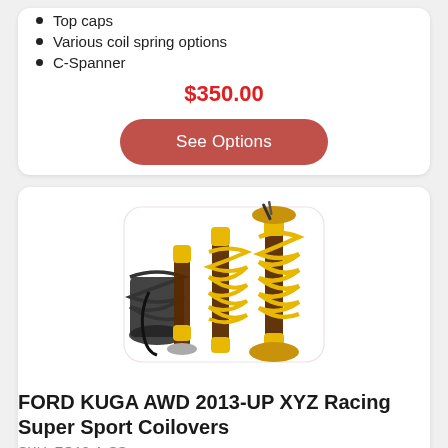Top caps
Various coil spring options
C-Spanner
$350.00
See Options
[Figure (photo): XYZ Racing Super Sport Coilovers - set of 4 coilover shock absorbers with yellow springs and black bodies]
FORD KUGA AWD 2013-UP XYZ Racing Super Sport Coilovers
SKU: FO10-A-SS